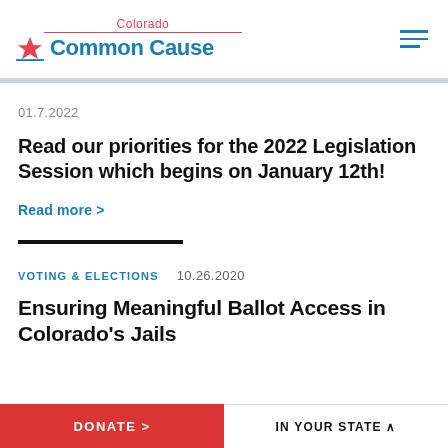Colorado Common Cause
01.7.2022
Read our priorities for the 2022 Legislation Session which begins on January 12th!
Read more >
VOTING & ELECTIONS   10.26.2020
Ensuring Meaningful Ballot Access in Colorado's Jails
DONATE >   IN YOUR STATE ^